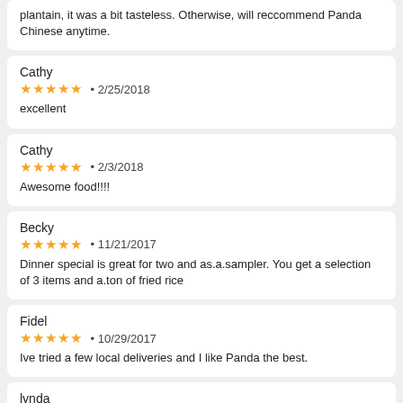plantain, it was a bit tasteless. Otherwise, will reccommend Panda Chinese anytime.
Cathy
★★★★★ • 2/25/2018
excellent
Cathy
★★★★★ • 2/3/2018
Awesome food!!!!
Becky
★★★★★ • 11/21/2017
Dinner special is great for two and as.a.sampler. You get a selection of 3 items and a.ton of fried rice
Fidel
★★★★★ • 10/29/2017
Ive tried a few local deliveries and I like Panda the best.
lynda
★★★★★ • 10/4/2017
very good food
Fidel
★★★★★ • 3/24/2017